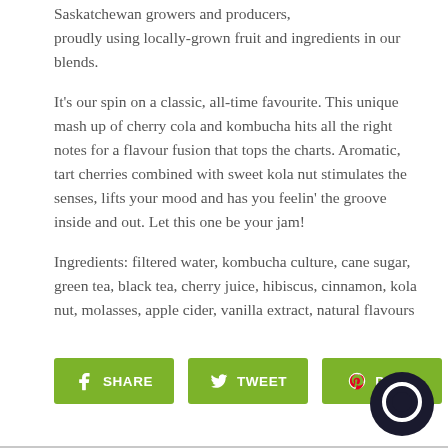Saskatchewan growers and producers, proudly using locally-grown fruit and ingredients in our blends.
It's our spin on a classic, all-time favourite. This unique mash up of cherry cola and kombucha hits all the right notes for a flavour fusion that tops the charts. Aromatic, tart cherries combined with sweet kola nut stimulates the senses, lifts your mood and has you feelin' the groove inside and out. Let this one be your jam!
Ingredients: filtered water, kombucha culture, cane sugar, green tea, black tea, cherry juice, hibiscus, cinnamon, kola nut, molasses, apple cider, vanilla extract, natural flavours
[Figure (infographic): Three green social sharing buttons: SHARE (Facebook), TWEET (Twitter), PIN IT (Pinterest), followed by a circular chat bubble icon in the bottom-right corner.]